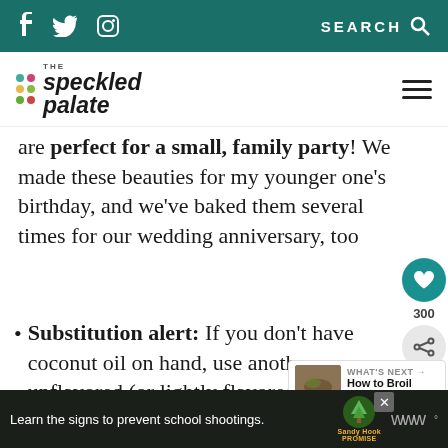f  [twitter]  [instagram]    SEARCH
THE speckled palate
are perfect for a small, family party! We made these beauties for my younger one's birthday, and we've baked them several times for our wedding anniversary, too
Substitution alert: If you don't have coconut oil on hand, use another unflavored (or lightly flavored) oil like canola or
[Figure (screenshot): WHAT'S NEXT arrow — How to Broil Steak widget with thumbnail]
Learn the signs to prevent school shootings. Sandy Hook PROMISE